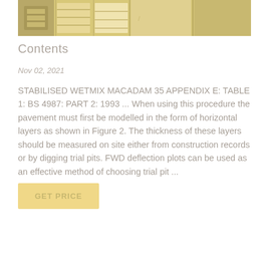[Figure (photo): Photo of laboratory or construction shelving/equipment with warm beige and yellow tones]
Contents
Nov 02, 2021
STABILISED WETMIX MACADAM 35 APPENDIX E: TABLE 1: BS 4987: PART 2: 1993 ... When using this procedure the pavement must first be modelled in the form of horizontal layers as shown in Figure 2. The thickness of these layers should be measured on site either from construction records or by digging trial pits. FWD deflection plots can be used as an effective method of choosing trial pit ...
GET PRICE